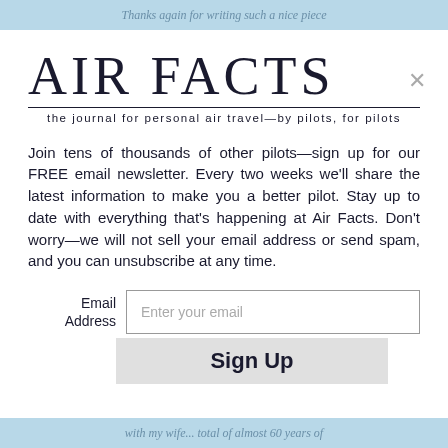Thanks again for writing such a nice piece
AIR FACTS
the journal for personal air travel—by pilots, for pilots
Join tens of thousands of other pilots—sign up for our FREE email newsletter. Every two weeks we'll share the latest information to make you a better pilot. Stay up to date with everything that's happening at Air Facts. Don't worry—we will not sell your email address or send spam, and you can unsubscribe at any time.
with my wife... total of almost 60 years of